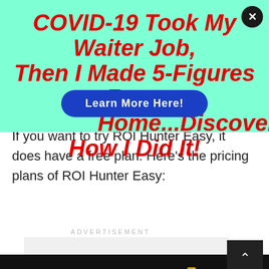[Figure (infographic): Teal/mint colored advertisement overlay with bold italic red text: COVID-19 Took My Waiter Job, Then I Made 5-Figures From Home...Discover How I Did It! with a blue Learn More Here! button and a close X button in the top right corner.]
If you want to try ROI Hunter Easy, it does have a free plan. Here's the pricing plans of ROI Hunter Easy:
[Figure (infographic): ADVERTISEMENT label with a light gray box placeholder containing three small gray dots indicator, and a dark scroll-up button with a chevron arrow on the right side.]
[Figure (infographic): Bottom banner advertisement on dark background: DON'T TEXT AND with a red car emoji, ad badge, NHTSA stars logo, and a close button. Weatherbug logo on the right.]